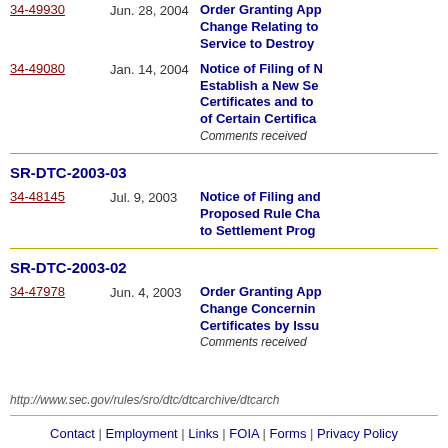34-49930 | Jun. 28, 2004 | Order Granting App Change Relating to Service to Destroy
34-49080 | Jan. 14, 2004 | Notice of Filing of Establish a New Se Certificates and to of Certain Certifica | Comments received
SR-DTC-2003-03
34-48145 | Jul. 9, 2003 | Notice of Filing and Proposed Rule Cha to Settlement Prog
SR-DTC-2003-02
34-47978 | Jun. 4, 2003 | Order Granting App Change Concernin Certificates by Issu | Comments received
http://www.sec.gov/rules/sro/dtc/dtcarchive/dtcarch
Contact | Employment | Links | FOIA | Forms | Privacy Policy